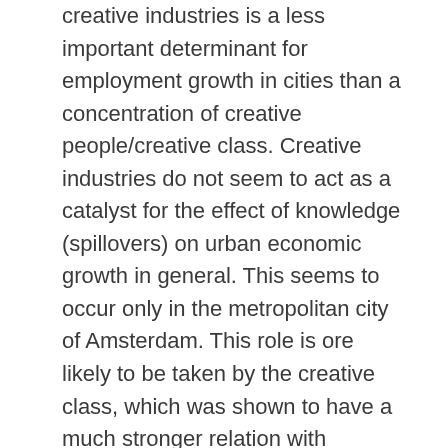creative industries is a less important determinant for employment growth in cities than a concentration of creative people/creative class. Creative industries do not seem to act as a catalyst for the effect of knowledge (spillovers) on urban economic growth in general. This seems to occur only in the metropolitan city of Amsterdam. This role is ore likely to be taken by the creative class, which was shown to have a much stronger relation with employment growth than the creative industries. If the